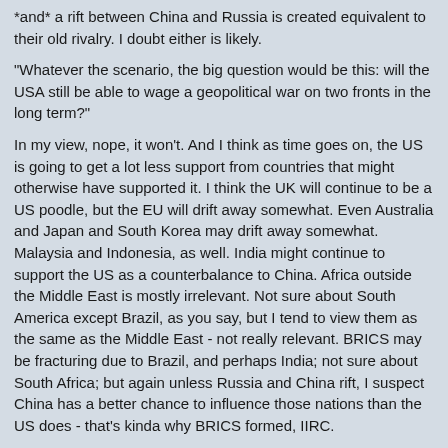*and* a rift between China and Russia is created equivalent to their old rivalry. I doubt either is likely.
"Whatever the scenario, the big question would be this: will the USA still be able to wage a geopolitical war on two fronts in the long term?"
In my view, nope, it won't. And I think as time goes on, the US is going to get a lot less support from countries that might otherwise have supported it. I think the UK will continue to be a US poodle, but the EU will drift away somewhat. Even Australia and Japan and South Korea may drift away somewhat. Malaysia and Indonesia, as well. India might continue to support the US as a counterbalance to China. Africa outside the Middle East is mostly irrelevant. Not sure about South America except Brazil, as you say, but I tend to view them as the same as the Middle East - not really relevant. BRICS may be fracturing due to Brazil, and perhaps India; not sure about South Africa; but again unless Russia and China rift, I suspect China has a better chance to influence those nations than the US does - that's kinda why BRICS formed, IIRC.
All in all, the future for the US hegemony project doesn't look good.
Posted by: Richard Steven Hack | May 18 2020 3:52 utc | 65